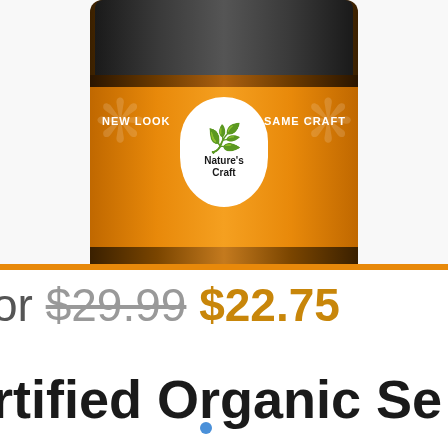[Figure (photo): Nature's Craft supplement bottle with amber glass and black cap, orange label reading NEW LOOK and SAME CRAFT with Nature's Craft logo]
or $29.99 $22.75
rtified Organic Se